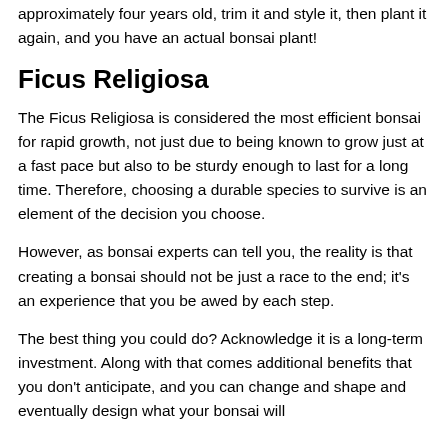approximately four years old, trim it and style it, then plant it again, and you have an actual bonsai plant!
Ficus Religiosa
The Ficus Religiosa is considered the most efficient bonsai for rapid growth, not just due to being known to grow just at a fast pace but also to be sturdy enough to last for a long time. Therefore, choosing a durable species to survive is an element of the decision you choose.
However, as bonsai experts can tell you, the reality is that creating a bonsai should not be just a race to the end; it's an experience that you be awed by each step.
The best thing you could do? Acknowledge it is a long-term investment. Along with that comes additional benefits that you don't anticipate, and you can change and shape and eventually design what your bonsai will